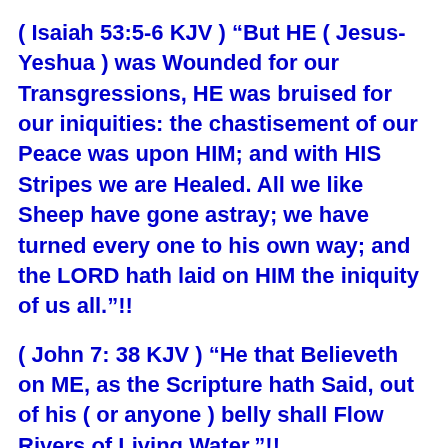( Isaiah 53:5-6 KJV ) “But HE ( Jesus-Yeshua ) was Wounded for our Transgressions, HE was bruised for our iniquities: the chastisement of our Peace was upon HIM; and with HIS Stripes we are Healed. All we like Sheep have gone astray; we have turned every one to his own way; and the LORD hath laid on HIM the iniquity of us all.”!!
( John 7: 38 KJV ) “He that Believeth on ME, as the Scripture hath Said, out of his ( or anyone ) belly shall Flow Rivers of Living Water.”!!
( John 14:6 KJV ) “Jesus-Yeshua Saith unto him, I AM the WAY, the TRUTH, and the LIFE: no man ( or